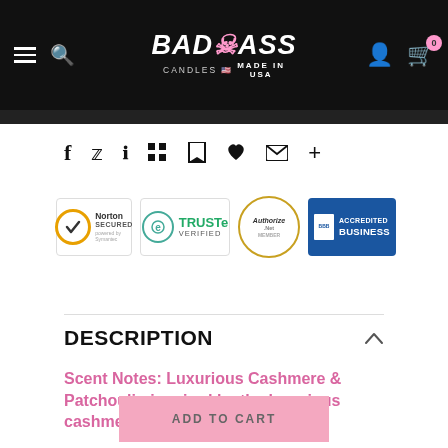Badass Candles - Made in USA
[Figure (logo): Social sharing icons row: Facebook, Twitter, Pinterest, Grid, Bookmark, Heart, Email, Plus]
[Figure (infographic): Trust badges: Norton Secured powered by Symantec, TRUSTe Verified, Authorize.Net, BBB Accredited Business]
DESCRIPTION
Scent Notes: Luxurious Cashmere & Patchouli - inspired by the luxurious cashmere fabrics